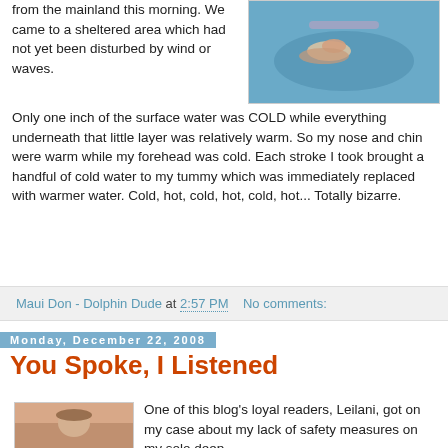from the mainland this morning. We came to a sheltered area which had not yet been disturbed by wind or waves. Only one inch of the surface water was COLD while everything underneath that little layer was relatively warm. So my nose and chin were warm while my forehead was cold. Each stroke I took brought a handful of cold water to my tummy which was immediately replaced with warmer water. Cold, hot, cold, hot, cold, hot... Totally bizarre.
[Figure (photo): Underwater photo of a person swimming, likely snorkeling, in blue water]
Maui Don - Dolphin Dude at 2:57 PM    No comments:
Monday, December 22, 2008
You Spoke, I Listened
[Figure (photo): Photo of a person wearing a hat, pinkish/sunset background]
One of this blog's loyal readers, Leilani, got on my case about my lack of safety measures on my solo deep